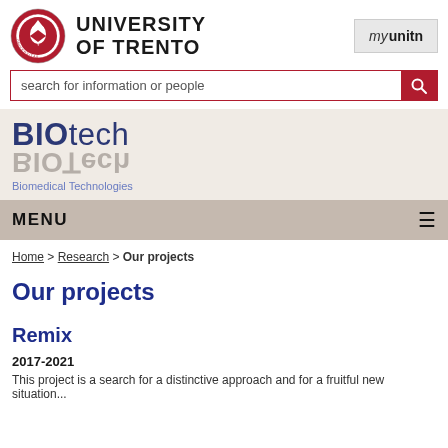[Figure (logo): University of Trento seal/crest logo and university name text logo with 'myunitn' button in top right]
search for information or people
[Figure (logo): BIOtech Biomedical Technologies logo with mirror reflection effect]
MENU
Home > Research > Our projects
Our projects
Remix
2017-2021
This project is a search for a distinctive approach and for a fruitful new situation...